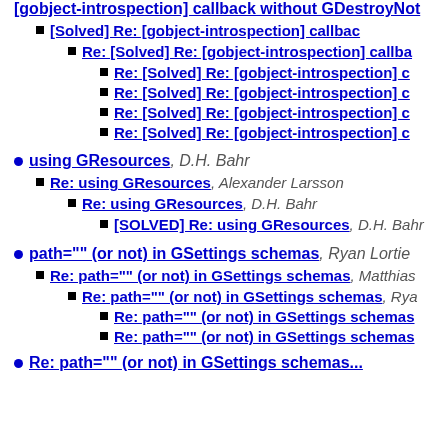[gobject-introspection] callback without GDestroyNot...
[Solved] Re: [gobject-introspection] callbac...
Re: [Solved] Re: [gobject-introspection] callba...
Re: [Solved] Re: [gobject-introspection] c...
Re: [Solved] Re: [gobject-introspection] c...
Re: [Solved] Re: [gobject-introspection] c...
Re: [Solved] Re: [gobject-introspection] c...
using GResources, D.H. Bahr
Re: using GResources, Alexander Larsson
Re: using GResources, D.H. Bahr
[SOLVED] Re: using GResources, D.H. Bahr
path="" (or not) in GSettings schemas, Ryan Lortie
Re: path="" (or not) in GSettings schemas, Matthias...
Re: path="" (or not) in GSettings schemas, Rya...
Re: path="" (or not) in GSettings schemas...
Re: path="" (or not) in GSettings schemas...
Re: path="" (or not) in GSettings schemas...